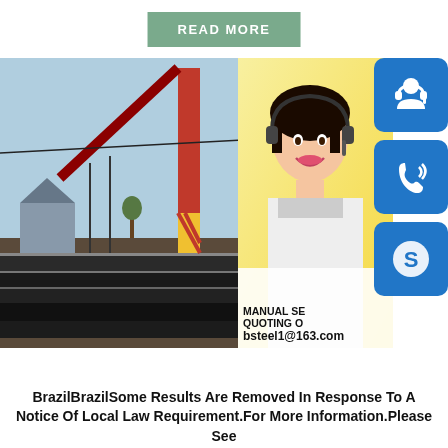READ MORE
[Figure (photo): Industrial crane lifting steel plates at a construction yard, with a red gantry crane structure visible against a blue sky. On the right side, an inset of a smiling woman with a headset (customer service representative) against a yellow background, with three blue icon buttons (headset/support, phone, Skype) and contact information overlay showing 'MANUAL SE', 'QUOTING O', 'bsteel1@163.com']
BrazilBrazilSome Results Are Removed In Response To A Notice Of Local Law Requirement.For More Information.Please See